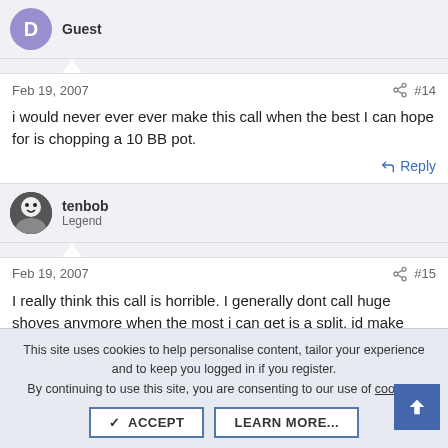Guest
Feb 19, 2007  #14
i would never ever ever make this call when the best I can hope for is chopping a 10 BB pot.
Reply
tenbob
Legend
Feb 19, 2007  #15
I really think this call is horrible. I generally dont call huge shoves anymore when the most i can get is a split, id make
This site uses cookies to help personalise content, tailor your experience and to keep you logged in if you register.
By continuing to use this site, you are consenting to our use of cookies.